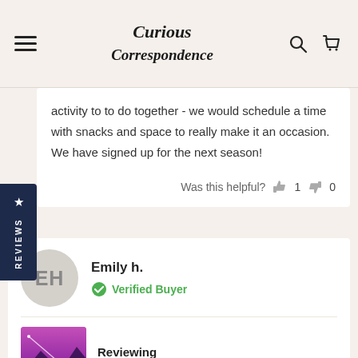Curious Correspondence
activity to to do together - we would schedule a time with snacks and space to really make it an occasion. We have signed up for the next season!
Was this helpful? 1 0
Emily h.
Verified Buyer
Reviewing
Monthly Subscription